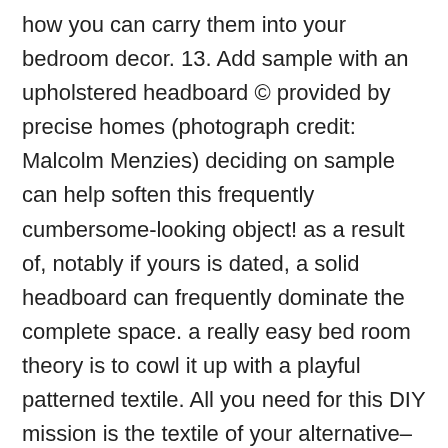how you can carry them into your bedroom decor.  13. Add sample with an upholstered headboard  © provided by precise homes (photograph credit: Malcolm Menzies) deciding on sample can help soften this frequently cumbersome-looking object! as a result of, notably if yours is dated, a solid headboard can frequently dominate the complete space.  a really easy bed room theory is to cowl it up with a playful patterned textile. All you need for this DIY mission is the  textile of your alternative– enough to cover your headboard – and a staple gun. Lay the fabric flat on the floor, then eliminate the headboard and lay it over the textile. Get a person to assist you stretch the cloth over the front of your headboard and then cozy it with a staple gun to the again. It does not rely if it looks slightly messy in